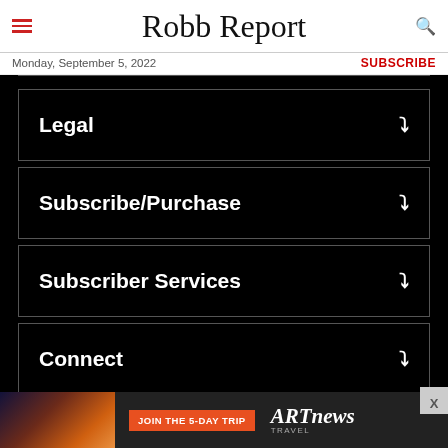Robb Report
Monday, September 5, 2022
SUBSCRIBE
Legal
Subscribe/Purchase
Subscriber Services
Connect
[Figure (infographic): ARTnews advertisement banner with 'JOIN THE 5-DAY TRIP' button]